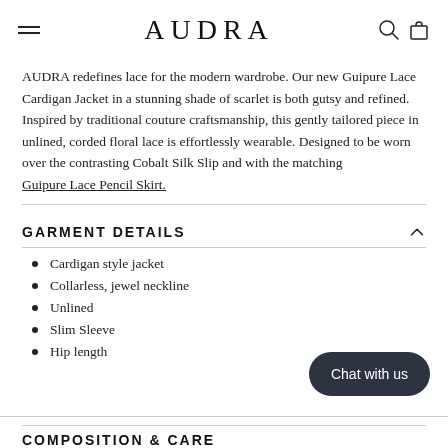AUDRA
AUDRA redefines lace for the modern wardrobe. Our new Guipure Lace Cardigan Jacket in a stunning shade of scarlet is both gutsy and refined. Inspired by traditional couture craftsmanship, this gently tailored piece in unlined, corded floral lace is effortlessly wearable. Designed to be worn over the contrasting Cobalt Silk Slip and with the matching Guipure Lace Pencil Skirt.
GARMENT DETAILS
Cardigan style jacket
Collarless, jewel neckline
Unlined
Slim Sleeve
Hip length